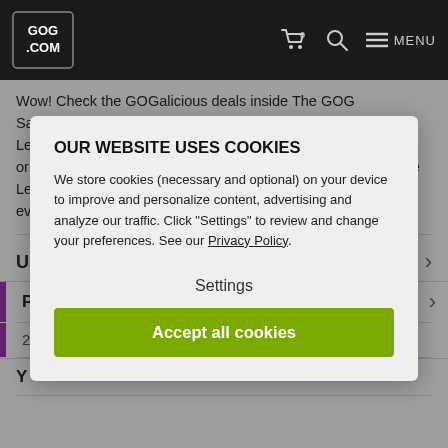GOG.COM | Cart 0 | Search | MENU
Wow! Check the GOGalicious deals inside The GOG Sale!Experience the wonderful original soundtrack for Dice Legacy composed by Michael Gordon Shapiro. Featuring 23 original compositions, including two bonus tracks from the Dice Legacy trailers. Explore a mysterious continent through an evocative s...
User reviews Be first to rate
P
2
Y
OUR WEBSITE USES COOKIES
We store cookies (necessary and optional) on your device to improve and personalize content, advertising and analyze our traffic. Click "Settings" to review and change your preferences. See our Privacy Policy.
Settings
Accept all cookies